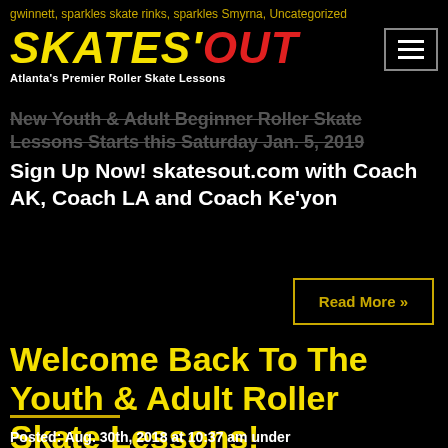gwinnett, sparkles skate rinks, sparkles Smyrna, Uncategorized
[Figure (logo): Skates Out logo - yellow italic bold text SKATES with red OUT, subtitle Atlanta's Premier Roller Skate Lessons]
New Youth & Adult Beginner Roller Skate Lessons Starts this Saturday Jan. 5, 2019 Sign Up Now! skatesout.com with Coach AK, Coach LA and Coach Ke'yon
Read More »
Welcome Back To The Youth & Adult Roller Skate Lessons!
Posted: Aug. 30th, 2018 at 10:37 am under